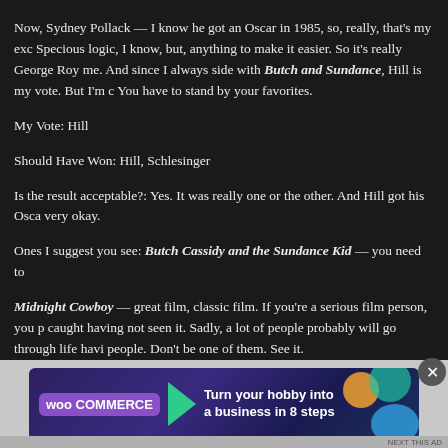Now, Sydney Pollack — I know he got an Oscar in 1985, so, really, that's my exc Specious logic, I know, but, anything to make it easier. So it's really George Roy me. And since I always side with Butch and Sundance, Hill is my vote. But I'm c You have to stand by your favorites.
My Vote: Hill
Should Have Won: Hill, Schlesinger
Is the result acceptable?: Yes. It was really one or the other. And Hill got his Osca very okay.
Ones I suggest you see: Butch Cassidy and the Sundance Kid — you need to
Midnight Cowboy — great film, classic film. If you're a serious film person, you p caught having not seen it. Sadly, a lot of people probably will go through life havi people. Don't be one of them. See it.
They Shoot Horses, Don't They? is a great, great film. I love this film so much b film about a small corner of the world, a tiny ass gym, and a dance competiti
[Figure (other): WooCommerce advertisement banner: 'Turn your hobby into a business in 8 steps' with teal arrow, orange and blue decorative circles on dark purple/navy gradient background]